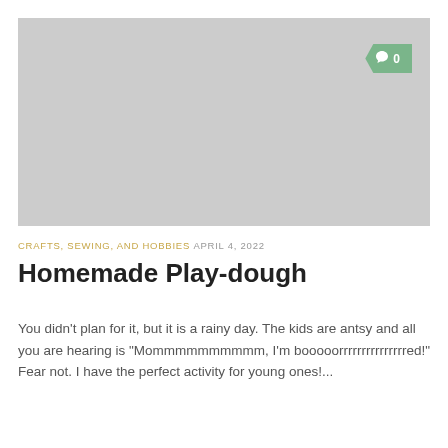[Figure (photo): Large gray placeholder hero image for blog post about homemade play-dough]
CRAFTS, SEWING, AND HOBBIES  APRIL 4, 2022
Homemade Play-dough
You didn't plan for it, but it is a rainy day. The kids are antsy and all you are hearing is "Mommmmmmmmmm, I'm booooorrrrrrrrrrrrrrred!" Fear not. I have the perfect activity for young ones!...